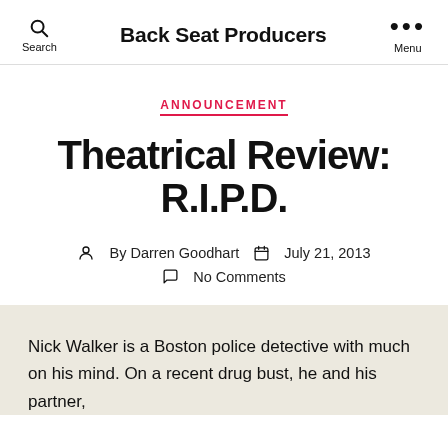Back Seat Producers
ANNOUNCEMENT
Theatrical Review: R.I.P.D.
By Darren Goodhart   July 21, 2013   No Comments
Nick Walker is a Boston police detective with much on his mind. On a recent drug bust, he and his partner,